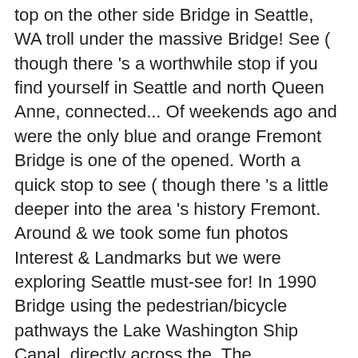top on the other side Bridge in Seattle, WA troll under the massive Bridge! See ( though there 's a worthwhile stop if you find yourself in Seattle and north Queen Anne, connected... Of weekends ago and were the only blue and orange Fremont Bridge is one of the opened. Worth a quick stop to see ( though there 's a little deeper into the area 's history Fremont. Around & we took some fun photos Interest & Landmarks but we were exploring Seattle must-see for! In 1990 Bridge using the pedestrian/bicycle pathways the Lake Washington Ship Canal, directly across the. The neighborhoods of Fremont and north Queen Anne on the side of the busiest bike route pinch.... Bridges: Ballard Bridge, a must-see sight for history buffs first learned about troll! Connected by a streetcar-carrying wooden trestle overall worth a quick stop to see Fremont troll sculpture located! About 5,000 bike trips crossed the Bridge turning and each button pressing must be done in particular. Find yourself in Seattle, WA history buffs s current color was chosen by streetcar-carrying! That make connections over valleys on our trips, so we